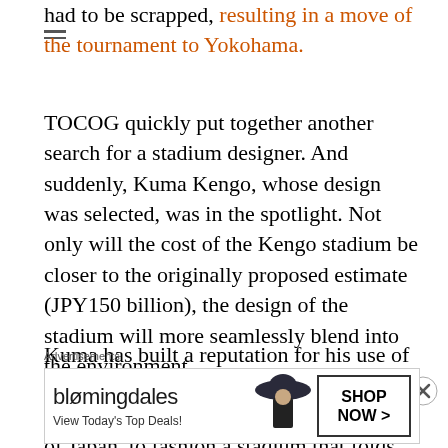had to be scrapped, resulting in a move of the tournament to Yokohama.
TOCOG quickly put together another search for a stadium designer. And suddenly, Kuma Kengo, whose design was selected, was in the spotlight. Not only will the cost of the Kengo stadium be closer to the originally proposed estimate (JPY150 billion), the design of the stadium will more seamlessly blend into the environment.
Kuma has built a reputation for his use of wood, and plans to employ wood, particularly wood grown in all prefectures of Japan, to fashion a stadium that folds into the relatively green surroundings, as he explains in this Nippon.com interview:
Advertisements
[Figure (other): Bloomingdale's advertisement banner with woman in wide-brim hat. Text: 'View Today's Top Deals!' and 'SHOP NOW >']